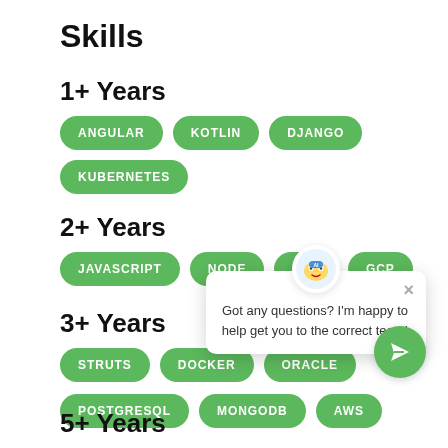Skills
1+ Years
ANGULAR
KOTLIN
DJANGO
KUBERNETES
2+ Years
JAVASCRIPT
NODE
PHP
GCP
3+ Years
STRUTS
DOCKER
ORACLE
POSTGRESQL
MONGODB
AWS
5+ Years
Got any questions? I'm happy to help get you to the correct team!